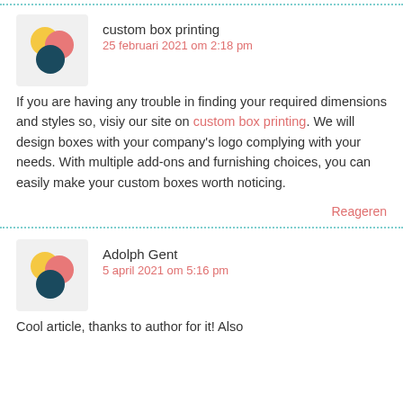[Figure (illustration): Decorative avatar with three overlapping circles: yellow (top-left), pink/salmon (right of yellow), and dark teal (bottom-center)]
custom box printing
25 februari 2021 om 2:18 pm
If you are having any trouble in finding your required dimensions and styles so, visiy our site on custom box printing. We will design boxes with your company's logo complying with your needs. With multiple add-ons and furnishing choices, you can easily make your custom boxes worth noticing.
Reageren
[Figure (illustration): Decorative avatar with three overlapping circles: yellow (top-left), pink/salmon (right of yellow), and dark teal (bottom-center)]
Adolph Gent
5 april 2021 om 5:16 pm
Cool article, thanks to author for it! Also